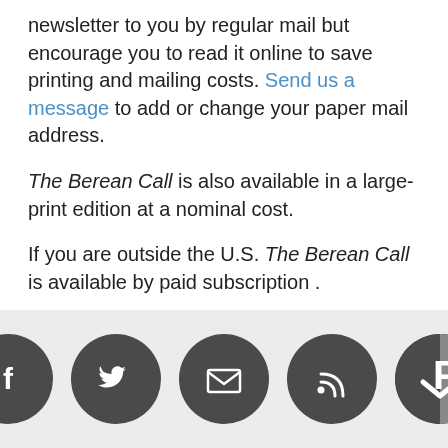newsletter to you by regular mail but encourage you to read it online to save printing and mailing costs. Send us a message to add or change your paper mail address.
The Berean Call is also available in a large-print edition at a nominal cost.
If you are outside the U.S. The Berean Call is available by paid subscription .
[Figure (infographic): Five social media / contact icon circles in a row: Facebook, Twitter, Email, RSS, and a partially visible fifth icon (Pocket/Instapaper). All icons are dark gray circles with white symbols.]